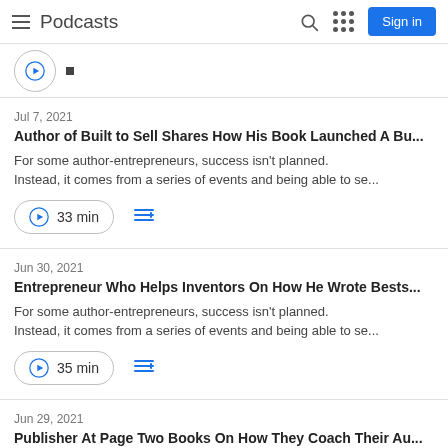Podcasts  Search  Grid  Sign in
Jul 7, 2021
Author of Built to Sell Shares How His Book Launched A Bu...
For some author-entrepreneurs, success isn't planned. Instead, it comes from a series of events and being able to se...
33 min
Jun 30, 2021
Entrepreneur Who Helps Inventors On How He Wrote Bests...
For some author-entrepreneurs, success isn't planned. Instead, it comes from a series of events and being able to se...
35 min
Jun 29, 2021
Publisher At Page Two Books On How They Coach Their Au...